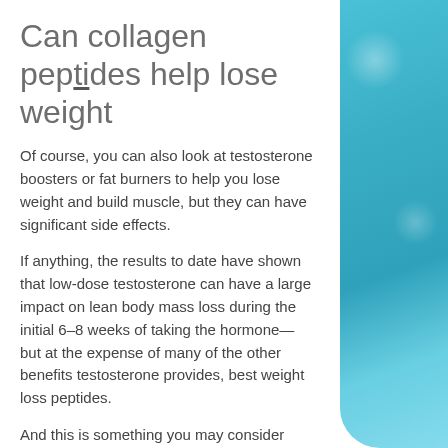Can collagen peptides help lose weight
Of course, you can also look at testosterone boosters or fat burners to help you lose weight and build muscle, but they can have significant side effects.
If anything, the results to date have shown that low-dose testosterone can have a large impact on lean body mass loss during the initial 6–8 weeks of taking the hormone—but at the expense of many of the other benefits testosterone provides, best weight loss peptides.
And this is something you may consider before you decide to take low-dose testosterone, how to lose weight after chemo and steroids.